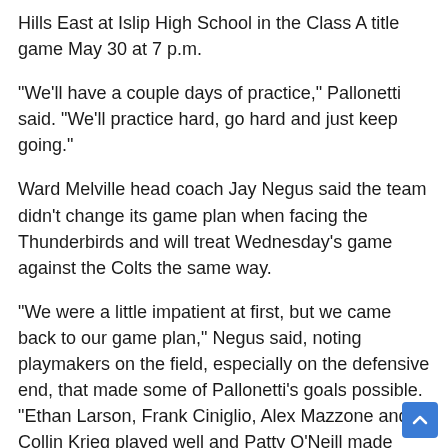Hills East at Islip High School in the Class A title game May 30 at 7 p.m.
“We’ll have a couple days of practice,” Pallonetti said. “We’ll practice hard, go hard and just keep going.”
Ward Melville head coach Jay Negus said the team didn’t change its game plan when facing the Thunderbirds and will treat Wednesday’s game against the Colts the same way.
“We were a little impatient at first, but we came back to our game plan,” Negus said, noting playmakers on the field, especially on the defensive end, that made some of Pallonetti’s goals possible. “Ethan Larson, Frank Ciniglio, Alex Mazzone and Collin Krieg played well and Patty O’Neill made some unbelievable takeaways that sparked some transition goals.”
Seniors Matt Grillo (two goal, two assists), Zach Hobbes (two goals) and Lucas Flynn (one goal) also found the back of cage for Ward Melville. Senior Ryan Pallonetti, Dylan’s older brother added on...